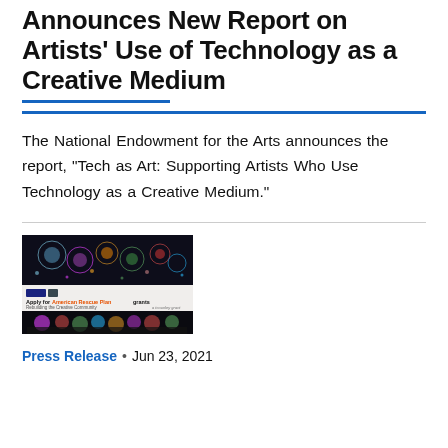Announces New Report on Artists' Use of Technology as a Creative Medium
The National Endowment for the Arts announces the report, "Tech as Art: Supporting Artists Who Use Technology as a Creative Medium."
[Figure (illustration): Thumbnail image showing two panels: top panel with colorful light/fireworks art on dark background, and middle section showing a flyer for 'Apply for American Rescue Plan grants – Rebuilding the Creative Community', and bottom panel with colorful theatrical stage lighting.]
Press Release • Jun 23, 2021